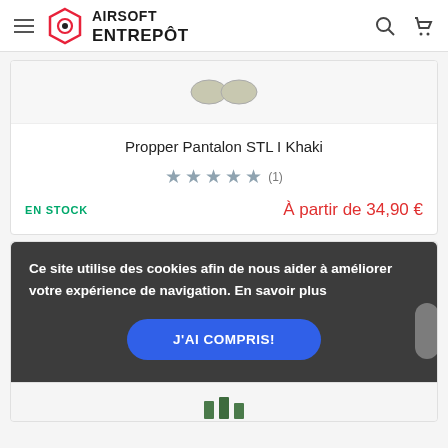AIRSOFT ENTREPOT
Propper Pantalon STL I Khaki
★★★★★ (1)
EN STOCK
À partir de 34,90 €
Ce site utilise des cookies afin de nous aider à améliorer votre expérience de navigation. En savoir plus
J'AI COMPRIS!